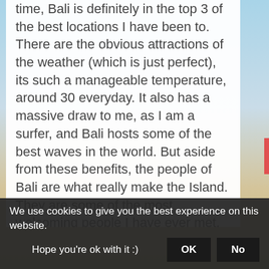time, Bali is definitely in the top 3 of the best locations I have been to. There are the obvious attractions of the weather (which is just perfect), its such a manageable temperature, around 30 everyday. It also has a massive draw to me, as I am a surfer, and Bali hosts some of the best waves in the world. But aside from these benefits, the people of Bali are what really make the Island. They are some of the most welcoming people I have ever met, they can never do enough for you and will go out of their way completely to make sure you enjoy the visit. I can't recommend Bali enough!
We use cookies to give you the best experience on this website. Hope you're ok with it :)